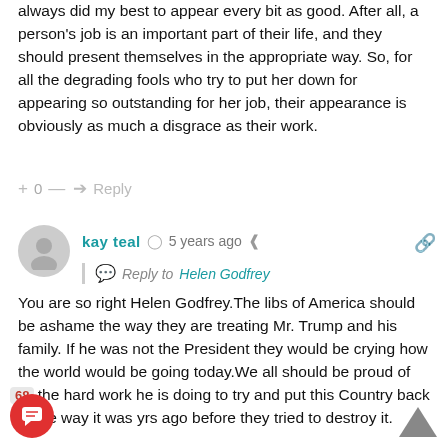always did my best to appear every bit as good. After all, a person's job is an important part of their life, and they should present themselves in the appropriate way. So, for all the degrading fools who try to put her down for appearing so outstanding for her job, their appearance is obviously as much a disgrace as their work.
+ 0 — → Reply
[Figure (illustration): User avatar - grey circle with person silhouette icon]
kay teal  5 years ago
Reply to Helen Godfrey
You are so right Helen Godfrey.The libs of America should be ashame the way they are treating Mr. Trump and his family. If he was not the President they would be crying how the world would be going today.We all should be proud of all the hard work he is doing to try and put this Country back to the way it was yrs ago before they tried to destroy it.